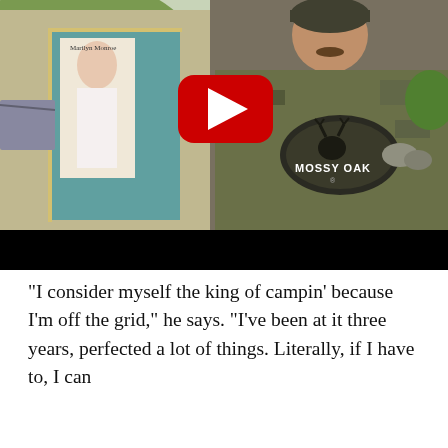[Figure (screenshot): YouTube video thumbnail showing a man in a Mossy Oak camouflage hoodie standing outside a shed/storage building with a Marilyn Monroe poster visible, gravel ground, green hills in background. A YouTube play button overlay is displayed in the center.]
“I consider myself the king of campin’ because I’m off the grid,” he says. “I’ve been at it three years, perfected a lot of things. Literally, if I have to, I can